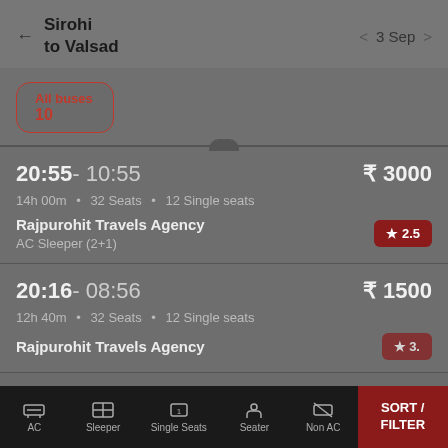Sirohi to Valsad · 3 Sep
All buses
10
20:55- 10:55 · ₹ 3000 · 14h 00m · 32 Seats · 12 Single seats · Rajpurohit Travels Agency · ★ 2.5 · AC Sleeper (2+1)
20:16- 08:56 · ₹ 1500 · 12h 40m · 32 Seats · 12 Single seats · Rajpurohit Travels Agency
AC | Sleeper | Single Seats | Seater | Non AC | SORT / FILTER